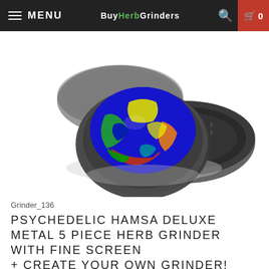MENU  BuyHerbGrinders  🔍  🛒 0
[Figure (photo): A psychedelic Hamsa herb grinder with colorful rainbow cloisonné design on the top piece, shown with the grinder open and parts separated. The top piece features vibrant blue, green, yellow, and red colors. Background is white.]
Grinder_136
PSYCHEDELIC HAMSA DELUXE METAL 5 PIECE HERB GRINDER WITH FINE SCREEN
+ CREATE YOUR OWN GRINDER!